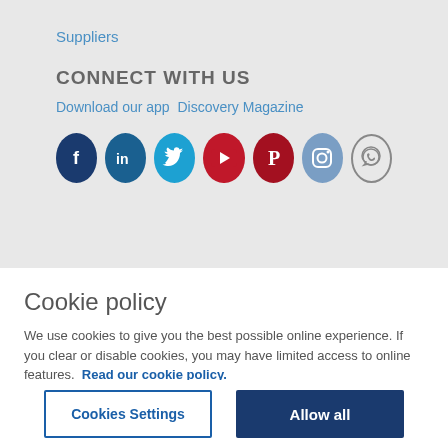Suppliers
CONNECT WITH US
Download our app  Discovery Magazine
[Figure (infographic): Row of social media icons: Facebook (dark blue), LinkedIn (blue), Twitter (cyan), YouTube (red), Pinterest (dark red), Instagram (blue-grey), WhatsApp (outline)]
Cookie policy
We use cookies to give you the best possible online experience. If you clear or disable cookies, you may have limited access to online features. Read our cookie policy.
Cookies Settings
Allow all